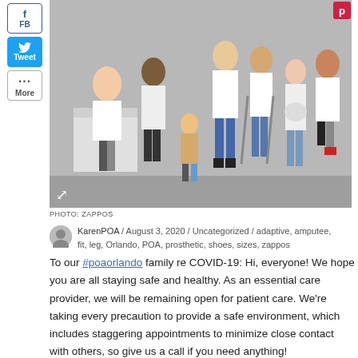[Figure (photo): Group photo of diverse people, several with prosthetic limbs, wearing white shirts, posed in a studio with gray background. Photo credit: Zappos.]
PHOTO: ZAPPOS
KarenPOA / August 3, 2020 / Uncategorized / adaptive, amputee, fit, leg, Orlando, POA, prosthetic, shoes, sizes, zappos
To our #poaorlando family re COVID-19: Hi, everyone! We hope you are all staying safe and healthy. As an essential care provider, we will be remaining open for patient care. We're taking every precaution to provide a safe environment, which includes staggering appointments to minimize close contact with others, so give us a call if you need anything!
KarenPOA / March 26, 2020 / Uncategorized
[Figure (photo): Black/dark image placeholder for a second post.]